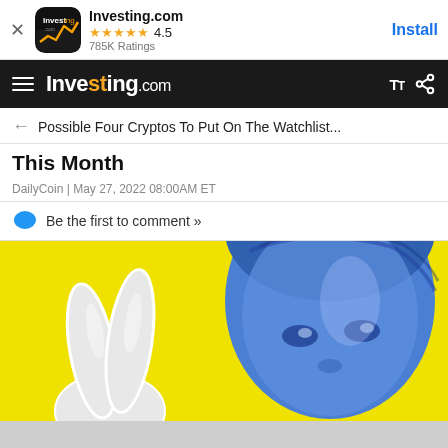[Figure (screenshot): Investing.com app install banner with app icon, 4.5 star rating, 785K Ratings, and Install button]
Investing.com
Possible Four Cryptos To Put On The Watchlist...
This Month
DailyCoin | May 27, 2022 08:00AM ET
Be the first to comment »
[Figure (illustration): Yellow background illustration with a blue-tinted celebrity face and a hand showing peace sign]